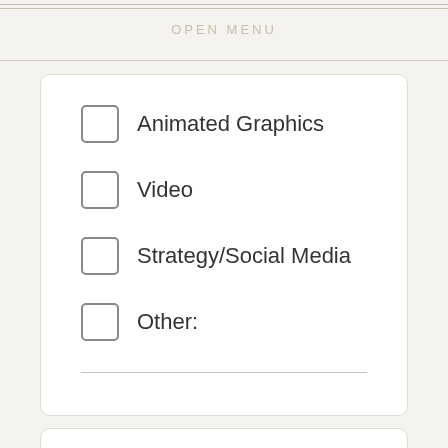OPEN MENU
Animated Graphics
Video
Strategy/Social Media
Other:
Fill us in on your vision for